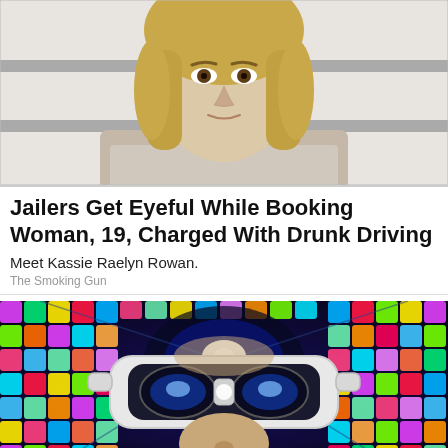[Figure (photo): Mugshot of a young blonde woman against a striped jail booking background]
Jailers Get Eyeful While Booking Woman, 19, Charged With Drunk Driving
Meet Kassie Raelyn Rowan.
The Smoking Gun
[Figure (photo): Person wearing a VR headset surrounded by colorful glowing mosaic squares in a psychedelic tunnel effect]